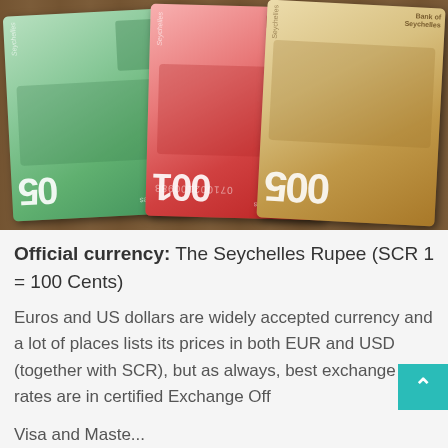[Figure (photo): Photo of three Seychelles Rupee banknotes (50, 100, and 500 denominations) laid on a wooden table surface]
Official currency: The Seychelles Rupee (SCR 1 = 100 Cents)
Euros and US dollars are widely accepted currency and a lot of places lists its prices in both EUR and USD (together with SCR), but as always, best exchange rates are in certified Exchange Off
Visa and Maste...